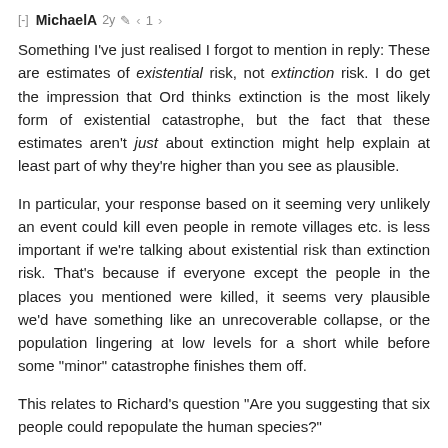[-] MichaelA  2y  < 1 >
Something I've just realised I forgot to mention in reply: These are estimates of existential risk, not extinction risk. I do get the impression that Ord thinks extinction is the most likely form of existential catastrophe, but the fact that these estimates aren't just about extinction might help explain at least part of why they're higher than you see as plausible.
In particular, your response based on it seeming very unlikely an event could kill even people in remote villages etc. is less important if we're talking about existential risk than extinction risk. That's because if everyone except the people in the places you mentioned were killed, it seems very plausible we'd have something like an unrecoverable collapse, or the population lingering at low levels for a short while before some "minor" catastrophe finishes them off.
This relates to Richard's question "Are you suggesting that six people could repopulate the human species?"